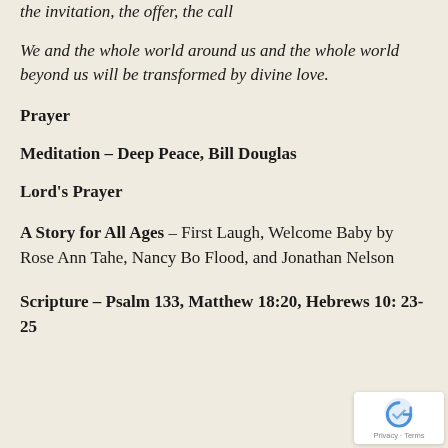the invitation, the offer, the call
We and the whole world around us and the whole world beyond us will be transformed by divine love.
Prayer
Meditation – Deep Peace, Bill Douglas
Lord's Prayer
A Story for All Ages – First Laugh, Welcome Baby by Rose Ann Tahe, Nancy Bo Flood, and Jonathan Nelson
Scripture – Psalm 133, Matthew 18:20, Hebrews 10: 23-25